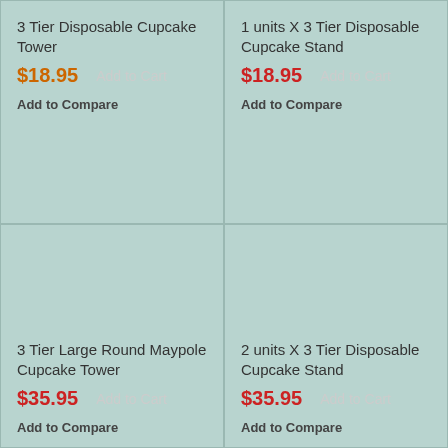3 Tier Disposable Cupcake Tower
$18.95  Add to Cart
Add to Compare
1 units X 3 Tier Disposable Cupcake Stand
$18.95  Add to Cart
Add to Compare
3 Tier Large Round Maypole Cupcake Tower
$35.95  Add to Cart
Add to Compare
2 units X 3 Tier Disposable Cupcake Stand
$35.95  Add to Cart
Add to Compare